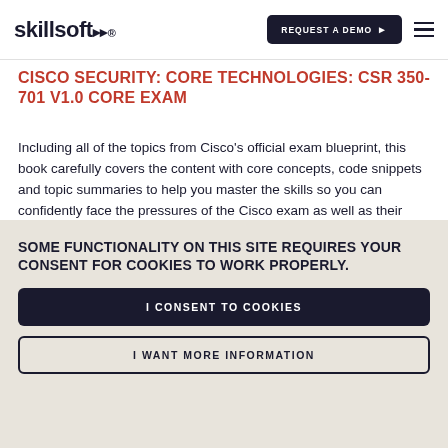skillsoft | REQUEST A DEMO ▶
CISCO SECURITY: CORE TECHNOLOGIES: CSR 350-701 V1.0 CORE EXAM
Including all of the topics from Cisco's official exam blueprint, this book carefully covers the content with core concepts, code snippets and topic summaries to help you master the skills so you can confidently face the pressures of the Cisco exam as well as their real-world application.
SOME FUNCTIONALITY ON THIS SITE REQUIRES YOUR CONSENT FOR COOKIES TO WORK PROPERLY.
I CONSENT TO COOKIES
I WANT MORE INFORMATION